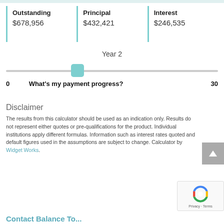| Outstanding | Principal | Interest |
| --- | --- | --- |
| $678,956 | $432,421 | $246,535 |
Year 2
0    What's my payment progress?    30
Disclaimer
The results from this calculator should be used as an indication only. Results do not represent either quotes or pre-qualifications for the product. Individual institutions apply different formulas. Information such as interest rates quoted and default figures used in the assumptions are subject to change. Calculator by Widget Works.